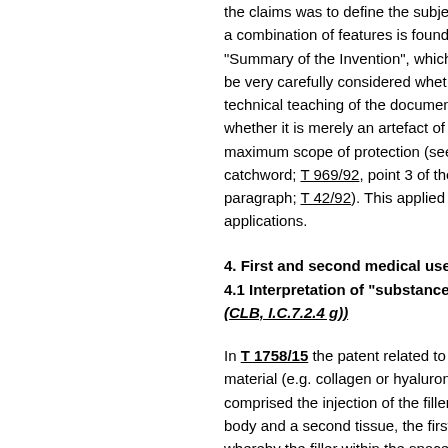the claims was to define the subject-matter; a combination of features is found in the "Summary of the Invention", which should be very carefully considered whether the technical teaching of the document, or whether it is merely an artefact of the maximum scope of protection (see catchword; T 969/92, point 3 of the paragraph; T 42/92). This applied also to applications.
4. First and second medical use
4.1 Interpretation of "substance or composition" (CLB, I.C.7.2.4 g))
In T 1758/15 the patent related to a filler material (e.g. collagen or hyaluronic acid) comprised the injection of the filler into a body and a second tissue, the first tissue, whereby the filler within the space